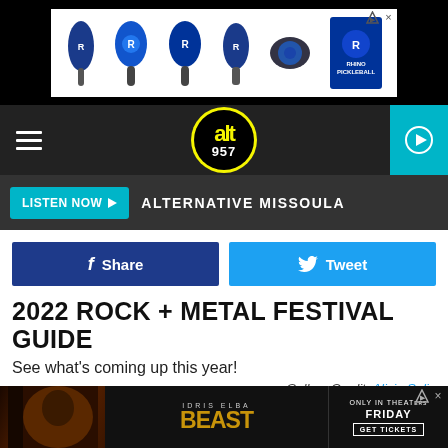[Figure (photo): Top banner advertisement for Rhino pickleball paddles and equipment]
[Figure (logo): ALT 957 radio station logo - yellow circle with black background]
LISTEN NOW ▶  ALTERNATIVE MISSOULA
[Figure (infographic): Facebook Share button (blue) and Twitter Tweet button (cyan) social sharing buttons]
2022 ROCK + METAL FESTIVAL GUIDE
See what's coming up this year!
Gallery Credit: Alicia Selin
[Figure (photo): Summerfest music festival promotional image showing dates June 23-25, June 30-July 2, July 7-9 in Milwaukee, Wisconsin]
[Figure (photo): Bottom advertisement for Idris Elba movie BEAST - Only in Theaters Friday, Get Tickets]